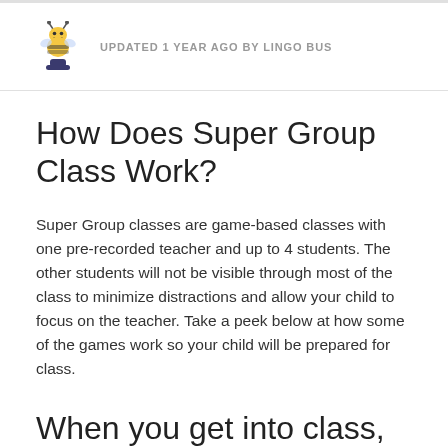UPDATED 1 YEAR AGO BY LINGO BUS
How Does Super Group Class Work?
Super Group classes are game-based classes with one pre-recorded teacher and up to 4 students. The other students will not be visible through most of the class to minimize distractions and allow your child to focus on the teacher. Take a peek below at how some of the games work so your child will be prepared for class.
When you get into class, you